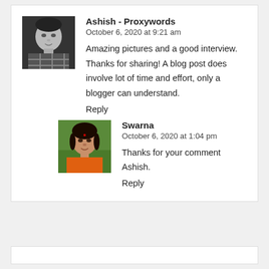[Figure (photo): Black and white photo of a young man in a plaid shirt]
Ashish - Proxywords
October 6, 2020 at 9:21 am
Amazing pictures and a good interview. Thanks for sharing! A blog post does involve lot of time and effort, only a blogger can understand.
Reply
[Figure (photo): Color photo of a young woman in an orange top]
Swarna
October 6, 2020 at 1:04 pm
Thanks for your comment Ashish.
Reply